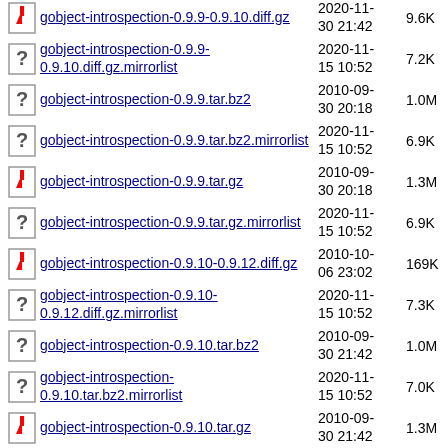gobject-introspection-0.9.9-0.9.10.diff.gz | 2020-11-30 21:42 | 9.6K
gobject-introspection-0.9.9-0.9.10.diff.gz.mirrorlist | 2020-11-15 10:52 | 7.2K
gobject-introspection-0.9.9.tar.bz2 | 2010-09-30 20:18 | 1.0M
gobject-introspection-0.9.9.tar.bz2.mirrorlist | 2020-11-15 10:52 | 6.9K
gobject-introspection-0.9.9.tar.gz | 2010-09-30 20:18 | 1.3M
gobject-introspection-0.9.9.tar.gz.mirrorlist | 2020-11-15 10:52 | 6.9K
gobject-introspection-0.9.10-0.9.12.diff.gz | 2010-10-06 23:02 | 169K
gobject-introspection-0.9.10-0.9.12.diff.gz.mirrorlist | 2020-11-15 10:52 | 7.3K
gobject-introspection-0.9.10.tar.bz2 | 2010-09-30 21:42 | 1.0M
gobject-introspection-0.9.10.tar.bz2.mirrorlist | 2020-11-15 10:52 | 7.0K
gobject-introspection-0.9.10.tar.gz | 2010-09-30 21:42 | 1.3M
gobject-introspection- | 2020-11- | 6.9K